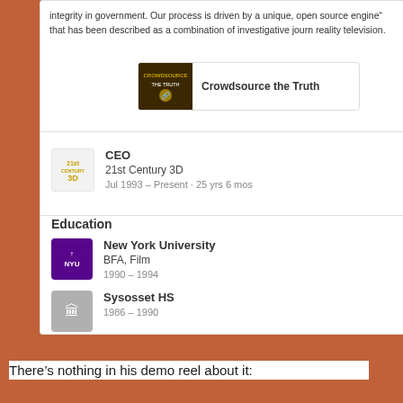integrity in government. Our process is driven by a unique, open source engine" that has been described as a combination of investigative journalism and reality television.
[Figure (screenshot): Crowdsource the Truth link card with thumbnail image]
CEO
21st Century 3D
Jul 1993 – Present · 25 yrs 6 mos
Education
New York University
BFA, Film
1990 – 1994
Sysosset HS
1986 – 1990
There's nothing in his demo reel about it: